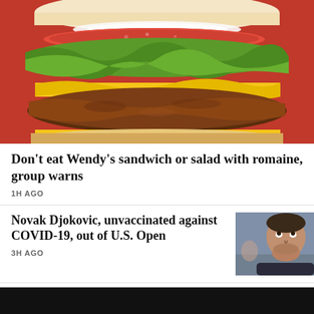[Figure (photo): Close-up photo of a Wendy's burger with lettuce, tomato, cheese, and beef patty against a red background]
Don't eat Wendy's sandwich or salad with romaine, group warns
1H AGO
Novak Djokovic, unvaccinated against COVID-19, out of U.S. Open
3H AGO
[Figure (photo): Close-up photo of Novak Djokovic looking upward]
Deputies: Suspicious man detained near Fontana school before school shooting
[Figure (photo): Outdoor mountainous scene with clouds and sky]